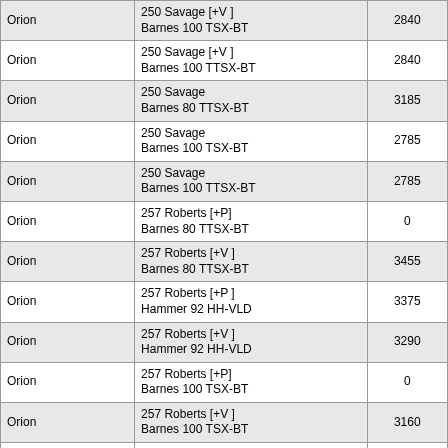| Orion | 250 Savage [+V]
Barnes 100 TSX-BT | 2840 |
| Orion | 250 Savage [+V]
Barnes 100 TTSX-BT | 2840 |
| Orion | 250 Savage
Barnes 80 TTSX-BT | 3185 |
| Orion | 250 Savage
Barnes 100 TSX-BT | 2785 |
| Orion | 250 Savage
Barnes 100 TTSX-BT | 2785 |
| Orion | 257 Roberts [+P]
Barnes 80 TTSX-BT | 0 |
| Orion | 257 Roberts [+V]
Barnes 80 TTSX-BT | 3455 |
| Orion | 257 Roberts [+P]
Hammer 92 HH-VLD | 3375 |
| Orion | 257 Roberts [+V]
Hammer 92 HH-VLD | 3290 |
| Orion | 257 Roberts [+P]
Barnes 100 TSX-BT | 0 |
| Orion | 257 Roberts [+V]
Barnes 100 TSX-BT | 3160 |
| Orion | 257 Roberts [+P]
Barnes 100 TTSX-BT | 0 |
| Orion | 257 Roberts [+V]
Barnes 100 TTSX-BT | 3160 |
| Orion | 257 Roberts
Barnes 80 TTSX-BT | 3385 |
| Orion | 257 Roberts
Barnes 100 TSX-BT | 3065 |
| Orion | 257 Roberts
Barnes 100 TTSX-BT | 3065 |
| Orion | 25'06 Remington [+V]
Barnes 80 TTSX-BT | 3820 |